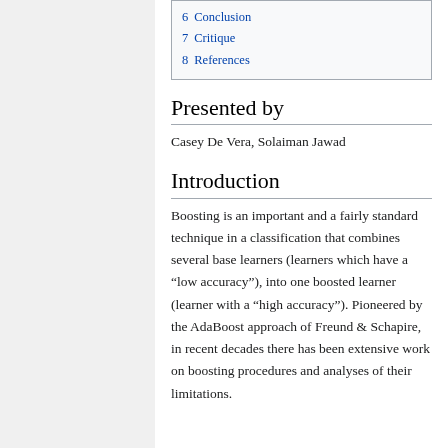6  Conclusion
7  Critique
8  References
Presented by
Casey De Vera, Solaiman Jawad
Introduction
Boosting is an important and a fairly standard technique in a classification that combines several base learners (learners which have a “low accuracy”), into one boosted learner (learner with a “high accuracy”). Pioneered by the AdaBoost approach of Freund & Schapire, in recent decades there has been extensive work on boosting procedures and analyses of their limitations.